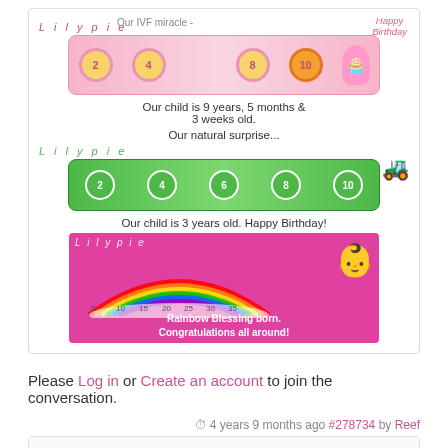[Figure (illustration): Three Lilypie milestone/birthday ticker banners: first is pink with a ballet dancer and birthday cupcake for an IVF miracle child (Our child is 9 years, 5 months & 3 weeks old.), second is green with a tractor for a natural surprise child (Our child is 3 years old. Happy Birthday!), third is pink/rainbow themed saying Rainbow Blessing born. Congratulations all around!]
Please Log in or Create an account to join the conversation.
4 years 9 months ago #278734 by Reef
Replied by Reef on topic Re:Due December 2017
Hi ladies,